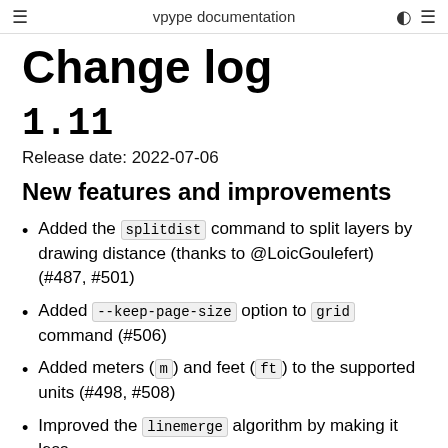vpype documentation
Change log
1.11
Release date: 2022-07-06
New features and improvements
Added the splitdist command to split layers by drawing distance (thanks to @LoicGoulefert) (#487, #501)
Added --keep-page-size option to grid command (#506)
Added meters (m) and feet (ft) to the supported units (#498, #508)
Improved the linemerge algorithm by making it less